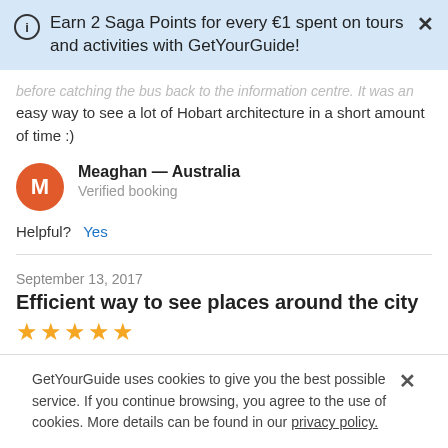Earn 2 Saga Points for every €1 spent on tours and activities with GetYourGuide!
before catching the bus back to the information centre. It was an easy way to see a lot of Hobart architecture in a short amount of time :)
Meaghan — Australia
Verified booking
Helpful?  Yes
September 13, 2017
Efficient way to see places around the city
[Figure (other): Five yellow star rating icons]
GetYourGuide uses cookies to give you the best possible service. If you continue browsing, you agree to the use of cookies. More details can be found in our privacy policy.